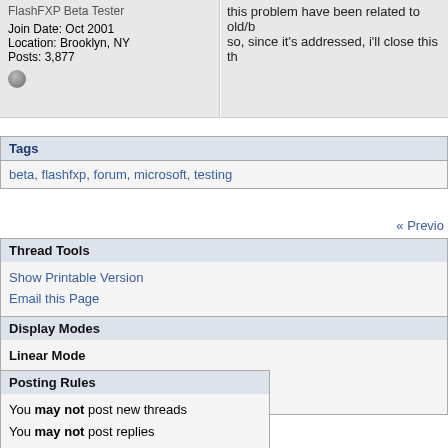FlashFXP Beta Tester
Join Date: Oct 2001
Location: Brooklyn, NY
Posts: 3,877
this problem have been related to old/b so, since it's addressed, i'll close this th
Tags
beta, flashfxp, forum, microsoft, testing
« Previo
Thread Tools
Show Printable Version
Email this Page
Display Modes
Linear Mode
Switch to Hybrid Mode
Switch to Threaded Mode
Posting Rules
You may not post new threads
You may not post replies
You may not post attachments
You may not edit your posts